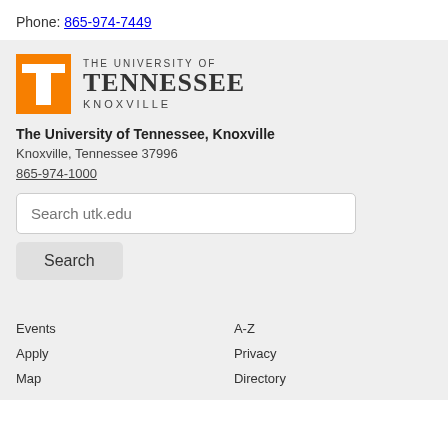Phone: 865-974-7449
[Figure (logo): The University of Tennessee, Knoxville logo with orange T block and text]
The University of Tennessee, Knoxville
Knoxville, Tennessee 37996
865-974-1000
Search utk.edu
Search
Events
A-Z
Apply
Privacy
Map
Directory